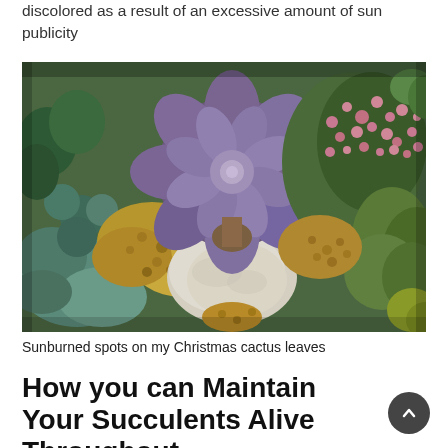discolored as a result of an excessive amount of sun publicity
[Figure (photo): Overhead view of various succulent plants including a purple/blue rosette succulent surrounded by green and pink flowering succulents, small pebbles, and a white rock in the center.]
Sunburned spots on my Christmas cactus leaves
How you can Maintain Your Succulents Alive Throughout